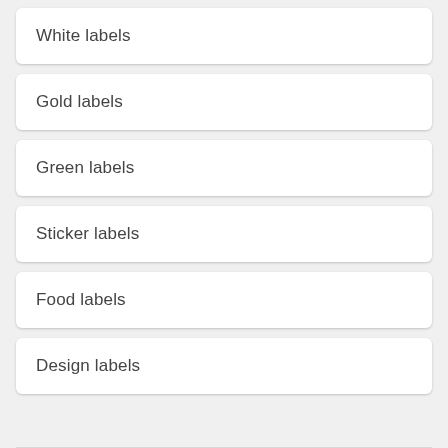White labels
Gold labels
Green labels
Sticker labels
Food labels
Design labels